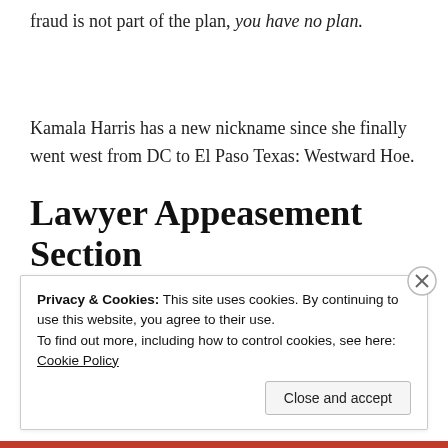fraud is not part of the plan, you have no plan.
Kamala Harris has a new nickname since she finally went west from DC to El Paso Texas: Westward Hoe.
Lawyer Appeasement Section
Privacy & Cookies: This site uses cookies. By continuing to use this website, you agree to their use.
To find out more, including how to control cookies, see here: Cookie Policy
Close and accept